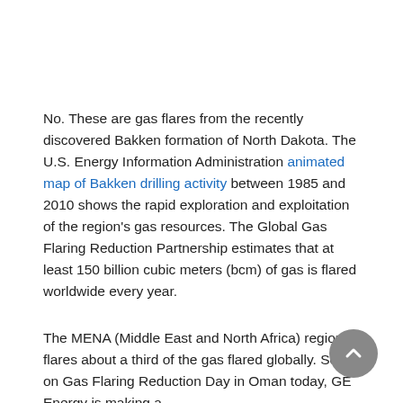No. These are gas flares from the recently discovered Bakken formation of North Dakota. The U.S. Energy Information Administration animated map of Bakken drilling activity between 1985 and 2010 shows the rapid exploration and exploitation of the region's gas resources. The Global Gas Flaring Reduction Partnership estimates that at least 150 billion cubic meters (bcm) of gas is flared worldwide every year.
The MENA (Middle East and North Africa) region flares about a third of the gas flared globally. So – on Gas Flaring Reduction Day in Oman today, GE Energy is making a